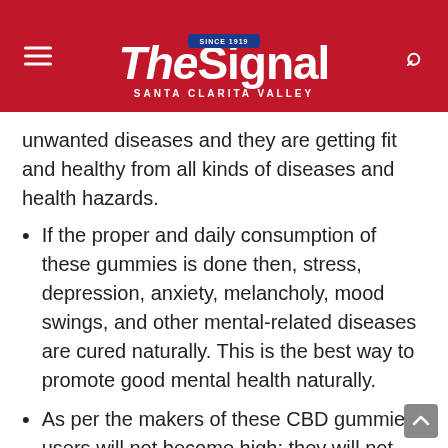The Signal — Santa Clarita Valley
unwanted diseases and they are getting fit and healthy from all kinds of diseases and health hazards.
If the proper and daily consumption of these gummies is done then, stress, depression, anxiety, melancholy, mood swings, and other mental-related diseases are cured naturally. This is the best way to promote good mental health naturally.
As per the makers of these CBD gummies, users will not become high; they will not have to suffer